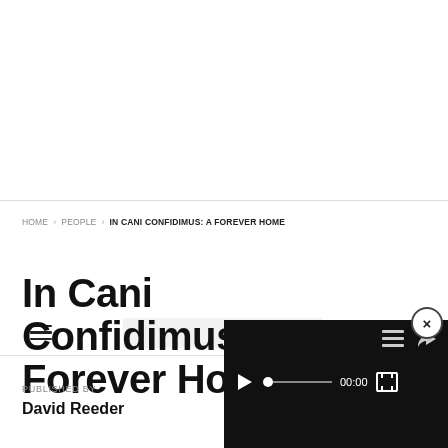[Figure (screenshot): Navigation bar with hamburger menu, logo placeholder, and search icon]
HOME > PEOPLE > IN CANI CONFIDIMUS: A FOREVER HOME
In Cani Confidimus: A Forever Home
PUBLISHED BY
David Reeder
[Figure (screenshot): Video player overlay with play button, timeline, 00:00 timestamp, fullscreen and other controls on black background]